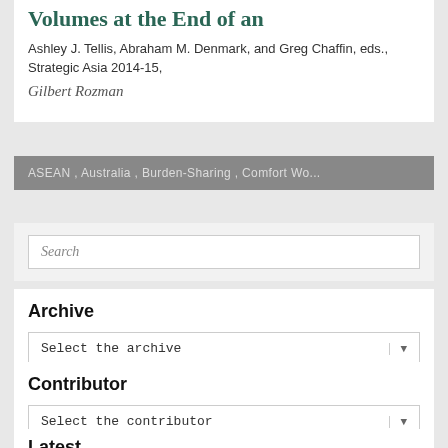Volumes at the End of an
Ashley J. Tellis, Abraham M. Denmark, and Greg Chaffin, eds., Strategic Asia 2014-15,
Gilbert Rozman
ASEAN , Australia , Burden-Sharing , Comfort Wo...
Search
Archive
Select the archive
Contributor
Select the contributor
Latest